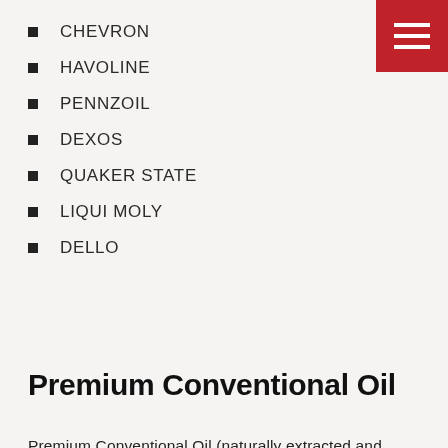CHEVRON
HAVOLINE
PENNZOIL
DEXOS
QUAKER STATE
LIQUI MOLY
DELLO
Premium Conventional Oil
Premium Conventional Oil (naturally extracted and processed organic, mineral oil) is the new standard oil for automobiles. All leading brands offer conventional oil in several viscosities. Car manufacturers typically specify a 5W-20 or 5W-30 oil,